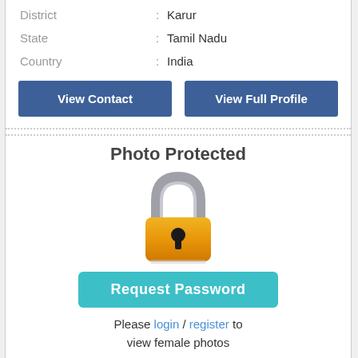| District | : | Karur |
| State | : | Tamil Nadu |
| Country | : | India |
View Contact | View Full Profile
Photo Protected
[Figure (illustration): A padlock icon with a grey shackle and an orange/yellow body with a keyhole, representing photo protection.]
Request Password
Please login / register to view female photos